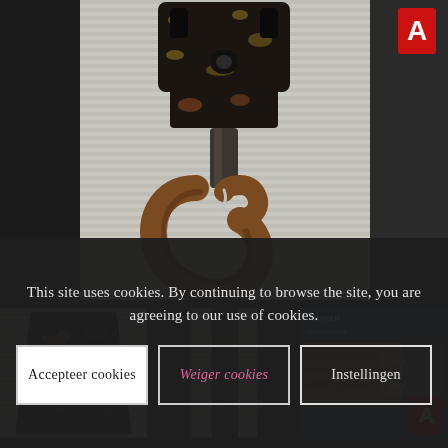[Figure (photo): Close-up photograph of a large industrial crane hook with rust and worn black/gold paint, suspended from a pulley block mechanism, against a corrugated metal wall background. A small red logo appears in the upper right corner.]
[Figure (photo): Thumbnail 1: Bottom view of the crane hook pulley/block assembly showing worn black and gold paint with two holes visible.]
[Figure (photo): Thumbnail 2: Close-up of the crane hook stem/shackle connection point showing vertical metal rod.]
[Figure (photo): Thumbnail 3: Label/nameplate on the crane hook equipment showing 'TRAGFAH', 'HEBEBRUCKE', 'EIGEN GEWICHT / WEIGHT', 'FADENGRUPPE / DESIGN FALL GR.', 'SEILDICKE / WIRE ROPE DIA.' text on blue background.]
This site uses cookies. By continuing to browse the site, you are agreeing to our use of cookies.
Accepteer cookies
Weiger cookies
Instellingen